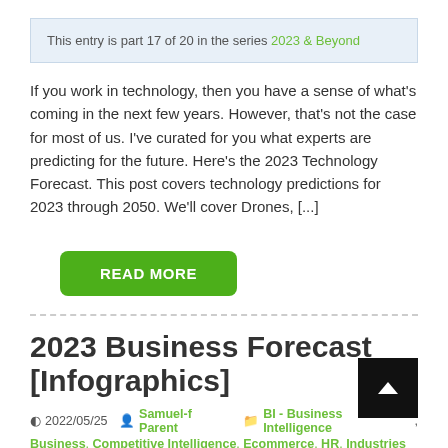This entry is part 17 of 20 in the series 2023 & Beyond
If you work in technology, then you have a sense of what's coming in the next few years. However, that's not the case for most of us. I've curated for you what experts are predicting for the future. Here's the 2023 Technology Forecast. This post covers technology predictions for 2023 through 2050. We'll cover Drones, [...]
READ MORE
2023 Business Forecast [Infographics]
2022/05/25  Samuel-f Parent  BI - Business Intelligence, Business, Competitive Intelligence, Ecommerce, HR, Industries